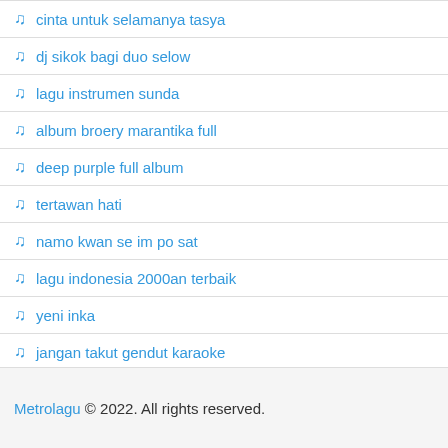♫ cinta untuk selamanya tasya
♫ dj sikok bagi duo selow
♫ lagu instrumen sunda
♫ album broery marantika full
♫ deep purple full album
♫ tertawan hati
♫ namo kwan se im po sat
♫ lagu indonesia 2000an terbaik
♫ yeni inka
♫ jangan takut gendut karaoke
♫ berdansa dan menari ikuti alunan lagu
Metrolagu © 2022. All rights reserved.